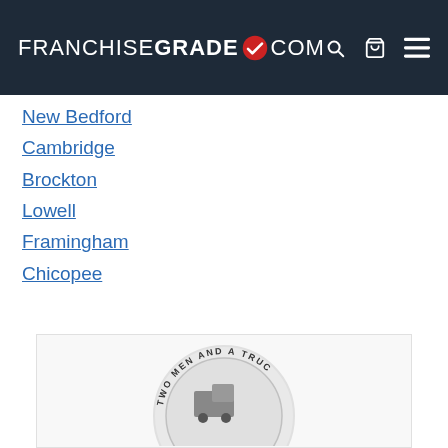FRANCHISEGRADE.COM
New Bedford
Cambridge
Brockton
Lowell
Framingham
Chicopee
[Figure (logo): Two Men and a Truck circular logo, partially visible at the bottom of the page]